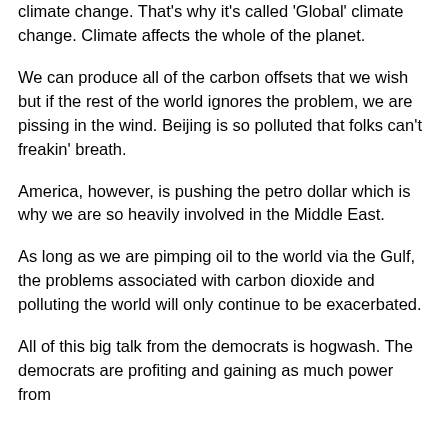climate change. That's why it's called 'Global' climate change. Climate affects the whole of the planet.
We can produce all of the carbon offsets that we wish but if the rest of the world ignores the problem, we are pissing in the wind. Beijing is so polluted that folks can't freakin' breath.
America, however, is pushing the petro dollar which is why we are so heavily involved in the Middle East.
As long as we are pimping oil to the world via the Gulf, the problems associated with carbon dioxide and polluting the world will only continue to be exacerbated.
All of this big talk from the democrats is hogwash. The democrats are profiting and gaining as much power from